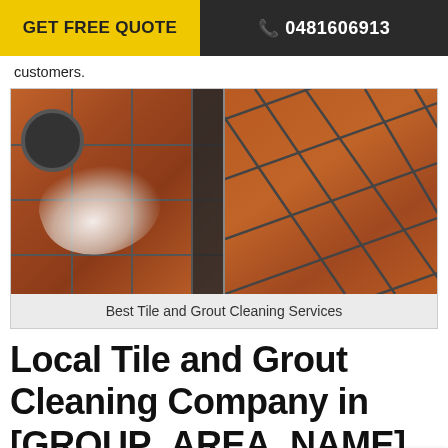GET FREE QUOTE | 0481606913
customers.
[Figure (photo): Before and after photos of tile and grout cleaning services showing dirty/damaged tiles on the left and clean red terracotta tiles on the right]
Best Tile and Grout Cleaning Services
Local Tile and Grout Cleaning Company in [GROUP_AREA_NAME]
Peters Cleaning Services deliver tile and grout cleaning services for both commercial areas such as hosp